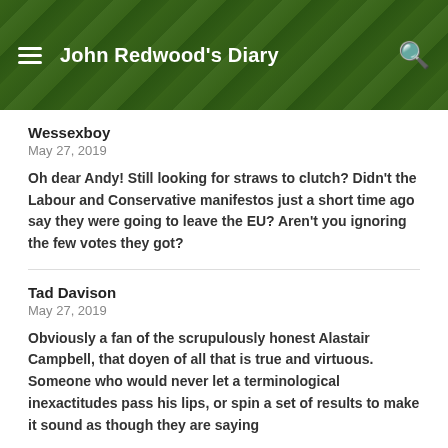John Redwood's Diary
Wessexboy
May 27, 2019
Oh dear Andy! Still looking for straws to clutch? Didn't the Labour and Conservative manifestos just a short time ago say they were going to leave the EU? Aren't you ignoring the few votes they got?
Tad Davison
May 27, 2019
Obviously a fan of the scrupulously honest Alastair Campbell, that doyen of all that is true and virtuous. Someone who would never let a terminological inexactitudes pass his lips, or spin a set of results to make it sound as though they are saying